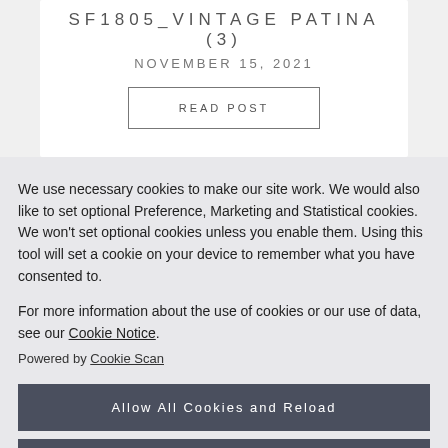SF1805_VINTAGE PATINA (3)
NOVEMBER 15, 2021
READ POST
We use necessary cookies to make our site work. We would also like to set optional Preference, Marketing and Statistical cookies. We won't set optional cookies unless you enable them. Using this tool will set a cookie on your device to remember what you have consented to.
For more information about the use of cookies or our use of data, see our Cookie Notice.
Powered by Cookie Scan
Allow All Cookies and Reload
Or Select Your Own Preferences